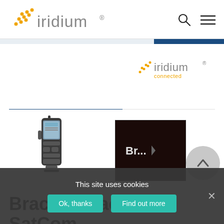iridium (logo header with search and menu icons)
[Figure (logo): Iridium Connected logo in top right content area]
[Figure (photo): Bracer tactical satellite communication device - handheld radio unit]
[Figure (screenshot): Dark thumbnail with text Br... truncated, representing a video or image preview]
Bracer™ Tactical SatCom
This site uses cookies
Ok, thanks
Find out more